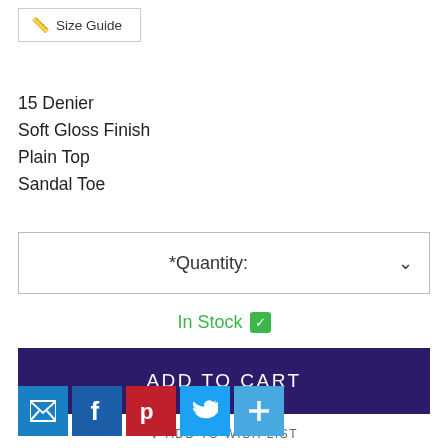[Figure (other): Size Guide button with ruler icon]
15 Denier
Soft Gloss Finish
Plain Top
Sandal Toe
*Quantity: (dropdown)
In Stock ✓
ADD TO CART
♥ ADD TO WISH LIST
[Figure (other): Social share buttons: email, Facebook, Pinterest, Twitter, plus]